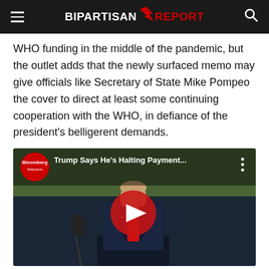Bipartisan Report
WHO funding in the middle of the pandemic, but the outlet adds that the newly surfaced memo may give officials like Secretary of State Mike Pompeo the cover to direct at least some continuing cooperation with the WHO, in defiance of the president's belligerent demands.
[Figure (screenshot): Embedded YouTube video from Bloomberg Television titled 'Trump Says He’s Halting Payment…' showing a man in a suit with a red tie speaking at a podium with a microphone, with a play button overlay]